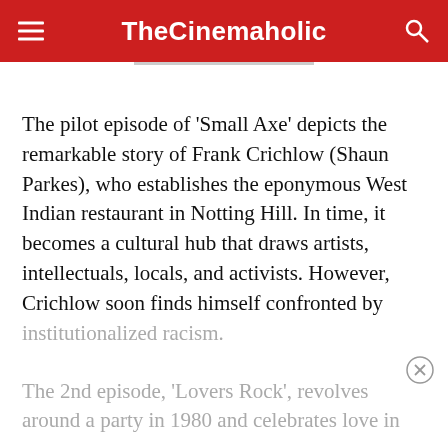TheCinemaholic
The pilot episode of ‘Small Axe’ depicts the remarkable story of Frank Crichlow (Shaun Parkes), who establishes the eponymous West Indian restaurant in Notting Hill. In time, it becomes a cultural hub that draws artists, intellectuals, locals, and activists. However, Crichlow soon finds himself confronted by institutionalized racism.
The 2nd episode, ‘Lovers Rock’, revolves around a party in 1980 and celebrates love in